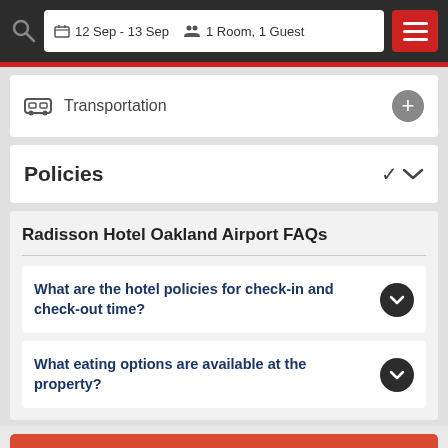12 Sep - 13 Sep  1 Room, 1 Guest
Transportation
Policies
Radisson Hotel Oakland Airport FAQs
What are the hotel policies for check-in and check-out time?
What eating options are available at the property?
Search Rooms